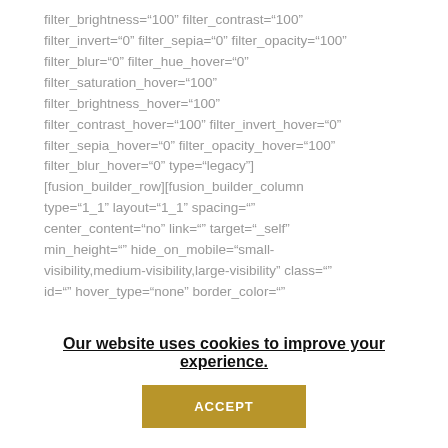filter_brightness="100" filter_contrast="100" filter_invert="0" filter_sepia="0" filter_opacity="100" filter_blur="0" filter_hue_hover="0" filter_saturation_hover="100" filter_brightness_hover="100" filter_contrast_hover="100" filter_invert_hover="0" filter_sepia_hover="0" filter_opacity_hover="100" filter_blur_hover="0" type="legacy"] [fusion_builder_row][fusion_builder_column type="1_1" layout="1_1" spacing="" center_content="no" link="" target="_self" min_height="" hide_on_mobile="small-visibility,medium-visibility,large-visibility" class="" id="" hover_type="none" border_color=""
Our website uses cookies to improve your experience.
ACCEPT